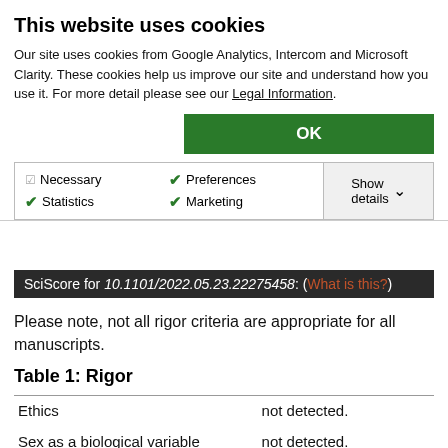This website uses cookies
Our site uses cookies from Google Analytics, Intercom and Microsoft Clarity. These cookies help us improve our site and understand how you use it. For more detail please see our Legal Information.
OK
Necessary  Preferences  Statistics  Marketing  Show details
SciScore for 10.1101/2022.05.23.22275458: (What is this?)
Please note, not all rigor criteria are appropriate for all manuscripts.
Table 1: Rigor
|  |  |
| --- | --- |
| Ethics | not detected. |
| Sex as a biological variable | not detected. |
| Randomization | not detected. |
| Blinding | not detected. |